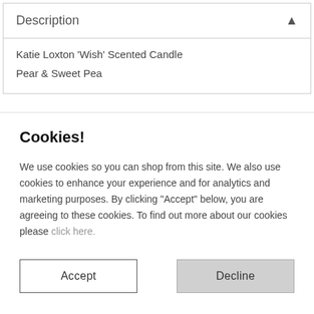Description
Katie Loxton 'Wish' Scented Candle
Pear & Sweet Pea
Cookies!
We use cookies so you can shop from this site. We also use cookies to enhance your experience and for analytics and marketing purposes. By clicking "Accept" below, you are agreeing to these cookies. To find out more about our cookies please click here.
Accept
Decline